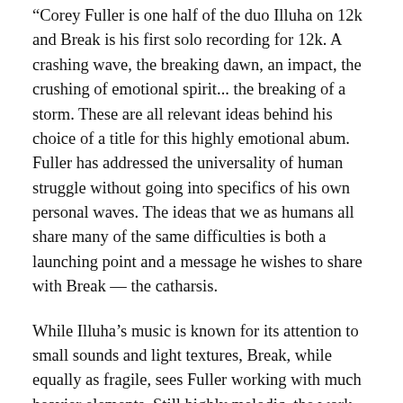“Corey Fuller is one half of the duo Illuha on 12k and Break is his first solo recording for 12k. A crashing wave, the breaking dawn, an impact, the crushing of emotional spirit... the breaking of a storm. These are all relevant ideas behind his choice of a title for this highly emotional abum. Fuller has addressed the universality of human struggle without going into specifics of his own personal waves. The ideas that we as humans all share many of the same difficulties is both a launching point and a message he wishes to share with Break — the catharsis.
While Illuha’s music is known for its attention to small sounds and light textures, Break, while equally as fragile, sees Fuller working with much heavier elements. Still highly melodic, the work pulls and churns between harmony and tension, weight and air, the crash of a wave, the pull of the